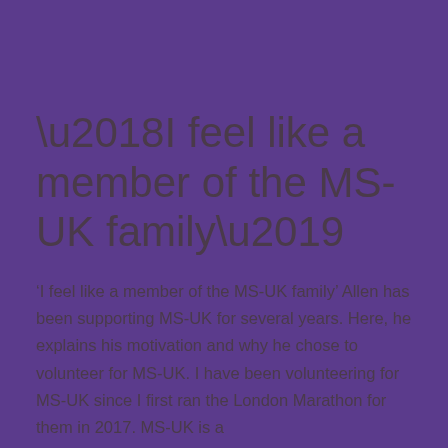‘I feel like a member of the MS-UK family’
‘I feel like a member of the MS-UK family’ Allen has been supporting MS-UK for several years. Here, he explains his motivation and why he chose to volunteer for MS-UK. I have been volunteering for MS-UK since I first ran the London Marathon for them in 2017. MS-UK is a